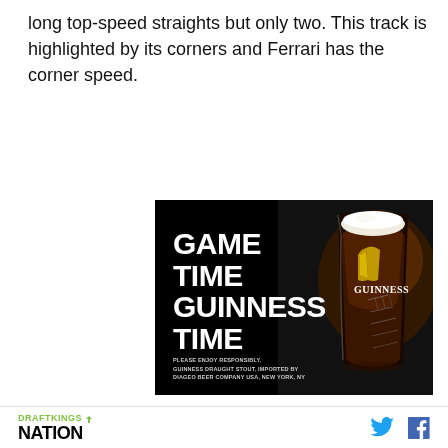long top-speed straights but only two. This track is highlighted by its corners and Ferrari has the corner speed.
[Figure (photo): Guinness advertisement with dark background showing a pint glass of Guinness stout alongside a football. Text reads 'GAME TIME GUINNESS TIME' in bold white letters. Small disclaimer text at bottom reads 'PLEASE ENJOY RESPONSIBLY. GUINNESS DRAUGHT STOUT, IMPORTED BY DIAGEO BEER COMPANY USA, NEW YORK, NY']
2. Carlos Sainz ($10,000)   Other than signing a
DRAFTKINGS NATION